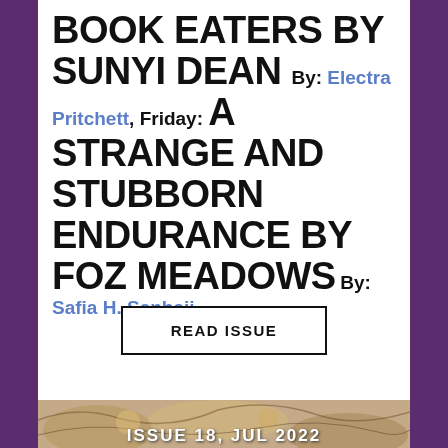BOOK EATERS BY SUNYI DEAN By: Electra Pritchett, Friday: A STRANGE AND STUBBORN ENDURANCE BY FOZ MEADOWS By: Safia H. Senhaji
READ ISSUE
[Figure (illustration): Illustrated decorative image strip at the bottom with text overlay reading ISSUE 18, JUL 2022]